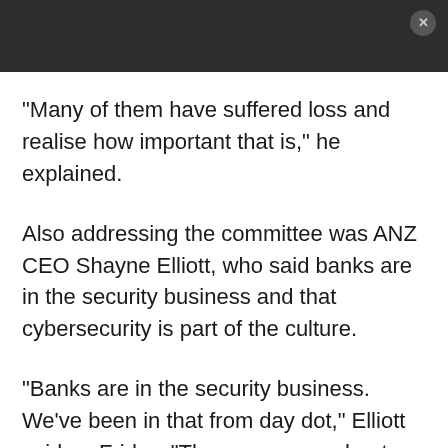[Figure (other): Dark header bar with close button (X)]
"Many of them have suffered loss and realise how important that is," he explained.
Also addressing the committee was ANZ CEO Shayne Elliott, who said banks are in the security business and that cybersecurity is part of the culture.
"Banks are in the security business. We've been in that from day dot," Elliott said on Friday. "The way we go about securing our customers' money and their data has changed, and now we talk about